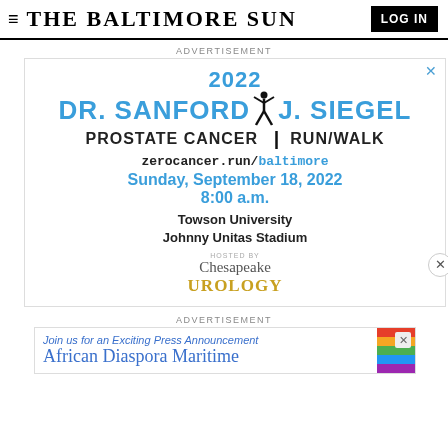≡ THE BALTIMORE SUN | LOG IN
ADVERTISEMENT
[Figure (illustration): Advertisement for the 2022 Dr. Sanford J. Siegel Prostate Cancer Run/Walk at Towson University Johnny Unitas Stadium on Sunday, September 18, 2022 at 8:00 a.m., hosted by Chesapeake Urology. Website: zerocancer.run/baltimore]
ADVERTISEMENT
[Figure (illustration): Advertisement banner: Join us for an Exciting Press Announcement — African Diaspora Maritime, with colorful stripe design on right side.]